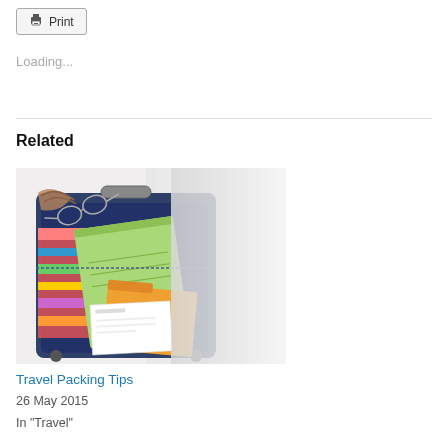Print
Loading...
Related
[Figure (photo): Open suitcase packed with colorful clothes, a green notepad, orange folder, glasses, and other travel items on a white background]
Travel Packing Tips
26 May 2015
In "Travel"